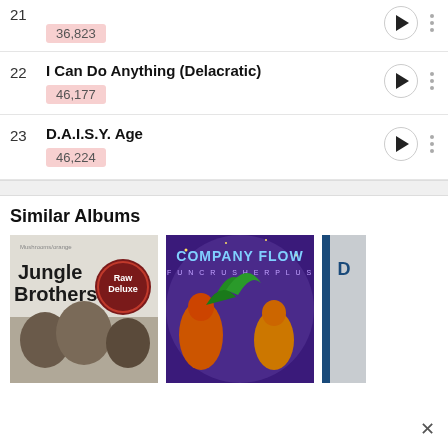21 — 36,823
22 — I Can Do Anything (Delacratic) — 46,177
23 — D.A.I.S.Y. Age — 46,224
Similar Albums
[Figure (photo): Album cover for Jungle Brothers - Raw Deluxe]
[Figure (photo): Album cover for Company Flow]
[Figure (photo): Partially visible album cover on the right]